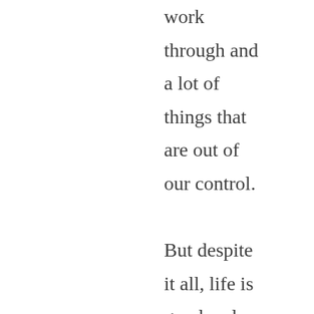work through and a lot of things that are out of our control.

But despite it all, life is good and God is good and although he's got my family in a constant state of construction right now, we sometimes gain enough clarity to see his work, to see his